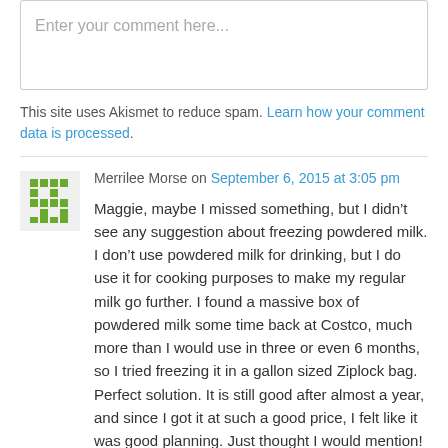Enter your comment here...
This site uses Akismet to reduce spam. Learn how your comment data is processed.
Merrilee Morse on September 6, 2015 at 3:05 pm
Maggie, maybe I missed something, but I didn’t see any suggestion about freezing powdered milk. I don’t use powdered milk for drinking, but I do use it for cooking purposes to make my regular milk go further. I found a massive box of powdered milk some time back at Costco, much more than I would use in three or even 6 months, so I tried freezing it in a gallon sized Ziplock bag. Perfect solution. It is still good after almost a year, and since I got it at such a good price, I felt like it was good planning. Just thought I would mention! But you are so right about powdered milk being more expensive than whole milk now, especially here in California where there are price controls on milk.